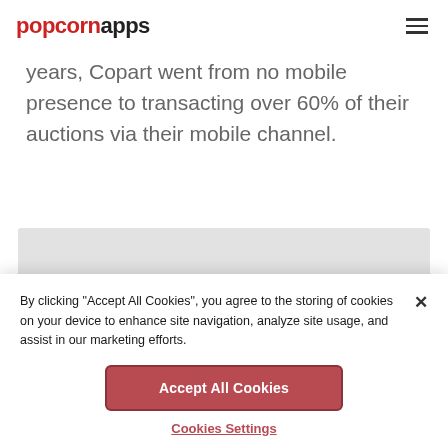popcornapps
years, Copart went from no mobile presence to transacting over 60% of their auctions via their mobile channel.
[Figure (screenshot): Cookie consent banner overlay on popcornapps website with grey background box and photo strip visible behind it]
By clicking “Accept All Cookies”, you agree to the storing of cookies on your device to enhance site navigation, analyze site usage, and assist in our marketing efforts.
Accept All Cookies
Cookies Settings